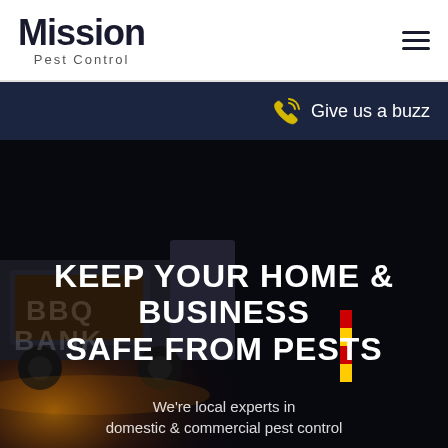Mission Pest Control
Give us a buzz
[Figure (photo): Night-time street scene with a truck and illuminated signage showing 'BBQ BANK', warm orange glow lighting from the left, dark background]
KEEP YOUR HOME & BUSINESS SAFE FROM PESTS
We're local experts in domestic & commercial pest control